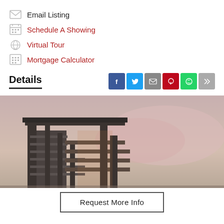Email Listing
Schedule A Showing
Virtual Tour
Mortgage Calculator
Details
[Figure (photo): Modern multi-story residential or commercial building under construction, photographed at dusk with a pinkish-grey sky background.]
Request More Info